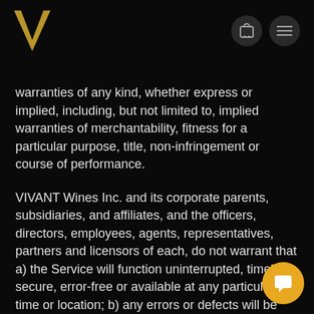VIVANT Wines Inc. — header with logo and navigation icons
warranties of any kind, whether express or implied, including, but not limited to, implied warranties of merchantability, fitness for a particular purpose, title, non-infringement or course of performance.
VIVANT Wines Inc. and its corporate parents, subsidiaries, and affiliates, and the officers, directors, employees, agents, representatives, partners and licensors of each, do not warrant that a) the Service will function uninterrupted, timely, secure, error-free or available at any particular time or location; b) any errors or defects will be corrected; c) the Service is free of viruses or other harmful components; or d) the results of using the Service will meet your requirements.